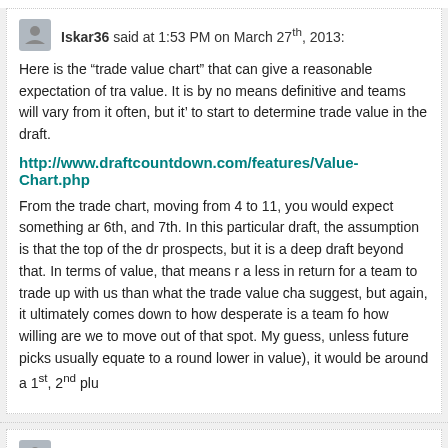Iskar36 said at 1:53 PM on March 27th, 2013:
Here is the “trade value chart” that can give a reasonable expectation of trade value. It is by no means definitive and teams will vary from it often, but it’s a good place to start to determine trade value in the draft.
http://www.draftcountdown.com/features/Value-Chart.php
From the trade chart, moving from 4 to 11, you would expect something around the 5th, 6th, and 7th. In this particular draft, the assumption is that the top of the draft has elite prospects, but it is a deep draft beyond that. In terms of value, that means more compensation, a less in return for a team to trade up with us than what the trade value chart would suggest, but again, it ultimately comes down to how desperate is a team for that pick and how willing are we to move out of that spot. My guess, unless future picks are involved (which usually equate to a round lower in value), it would be around a 1st, 2nd plu
TommyLawlor said at 2:11 PM on March 27th, 2013: